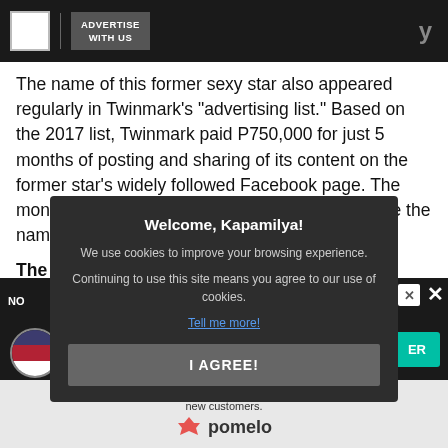ADVERTISE WITH US
The name of this former sexy star also appeared regularly in Twinmark's “advertising list.” Based on the 2017 list, Twinmark paid P750,000 for just 5 months of posting and sharing of its content on the former star’s widely followed Facebook page. The money was deposited in a bank account that bore the name of the star’s mana
The ex-chi
Also on the… was the name of a f… posts that
[Figure (screenshot): Cookie consent modal overlay on dark background reading 'Welcome, Kapamilya! We use cookies to improve your browsing experience. Continuing to use this site means you agree to our use of cookies. Tell me more! I AGREE!']
[Figure (screenshot): Advertisement banner at bottom with NO label, US flag icon, teal ER button, and Pomelo brand logo. Text: 'Applies to first $500 spent in 45 days for new customers.']